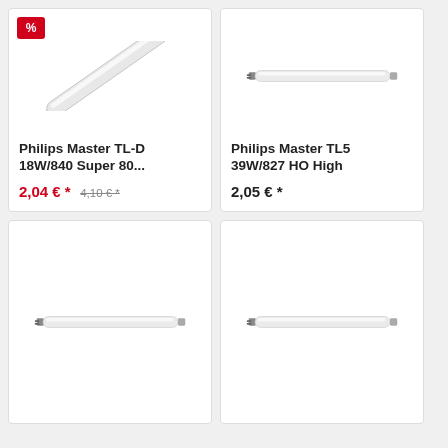[Figure (photo): Philips Master TL-D fluorescent tube, large diagonal, with sale badge]
Philips Master TL-D 18W/840 Super 80...
2,04 € * 4,10 € *
[Figure (photo): Philips Master TL5 fluorescent tube, small horizontal]
Philips Master TL5 39W/827 HO High
2,05 € *
[Figure (photo): Fluorescent tube, small horizontal, bottom left card]
[Figure (photo): Fluorescent tube, small horizontal, bottom right card]